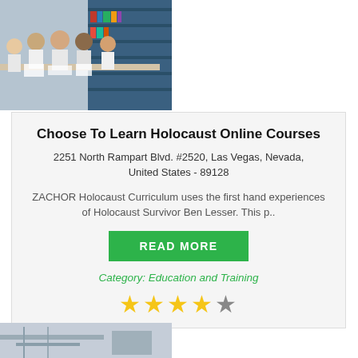[Figure (photo): Students in white uniforms sitting around a table in a library, studying together]
Choose To Learn Holocaust Online Courses
2251 North Rampart Blvd. #2520, Las Vegas, Nevada, United States - 89128
ZACHOR Holocaust Curriculum uses the first hand experiences of Holocaust Survivor Ben Lesser. This p..
READ MORE
Category: Education and Training
[Figure (photo): Bottom partial image of a classroom or lab setting]